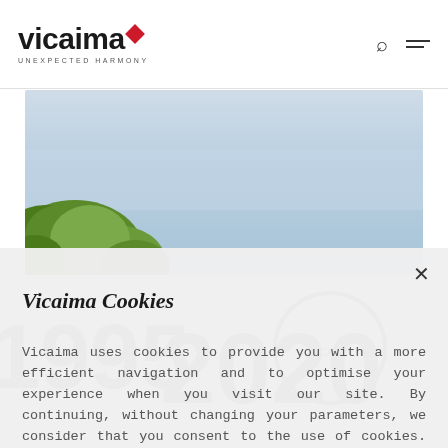[Figure (logo): Vicaima logo with red diamond and tagline UNEXPECTED HARMONY]
[Figure (photo): Hero banner photo showing blue sky with green tree foliage in bottom-left corner]
Vicaima Cookies
Vicaima uses cookies to provide you with a more efficient navigation and to optimise your experience when you visit our site. By continuing, without changing your parameters, we consider that you consent to the use of cookies. For more information consult our Cookies Policy